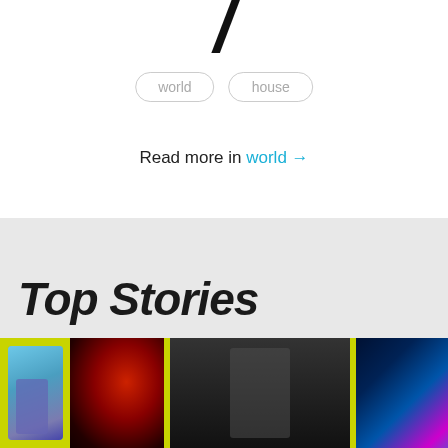[Figure (logo): Large bold italic slash/number 7 logo at top center]
world
house
Read more in world →
Top Stories
[Figure (photo): Strip of three photos on yellow-green background: blue-toned DJ performer, red-lit club scene with DJ, black-and-white DJ at decks, neon-lit abstract architecture]